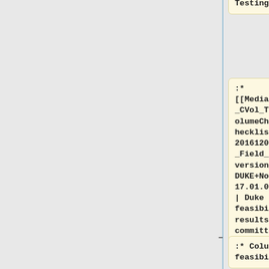Feasibility Testing
:* [[Media:QIBA_CVol_TumorVolumeChangeChecklist-20161205_-_Field_Test_version_1.0_DUKE+Notes2017.01.09.pdf | Duke feasibility results with committee notes]] 2017.01.09
:* Columbia feasibility